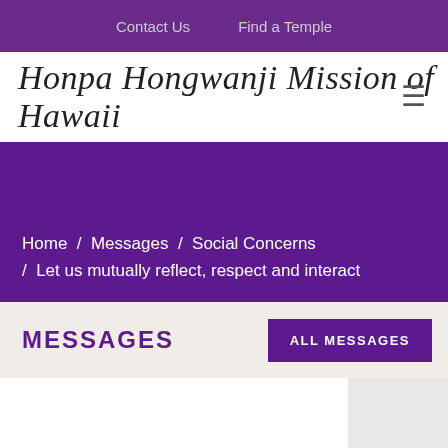Contact Us   Find a Temple
Honpa Hongwanji Mission of Hawaii
Home / Messages / Social Concerns / Let us mutually reflect, respect and interact
MESSAGES
ALL MESSAGES
Let us mutually reflect, respect